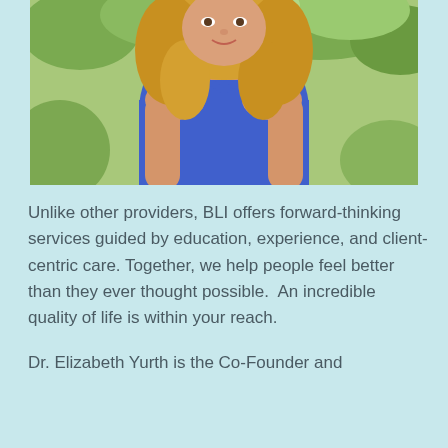[Figure (photo): Portrait photo of a woman with blonde hair wearing a blue sleeveless top and pearl necklace, photographed outdoors with green foliage in background]
Unlike other providers, BLI offers forward-thinking services guided by education, experience, and client-centric care. Together, we help people feel better than they ever thought possible.  An incredible quality of life is within your reach.
Dr. Elizabeth Yurth is the Co-Founder and